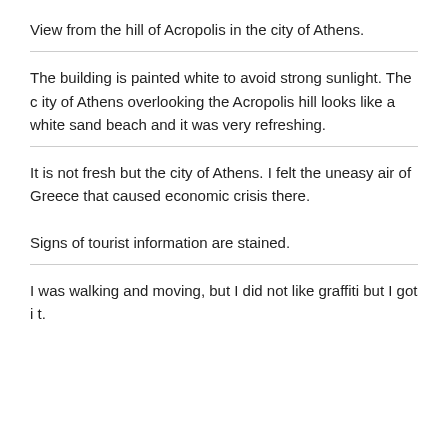View from the hill of Acropolis in the city of Athens.
The building is painted white to avoid strong sunlight. The city of Athens overlooking the Acropolis hill looks like a white sand beach and it was very refreshing.
It is not fresh but the city of Athens. I felt the uneasy air of Greece that caused economic crisis there.
Signs of tourist information are stained.
I was walking and moving, but I did not like graffiti but I got it.